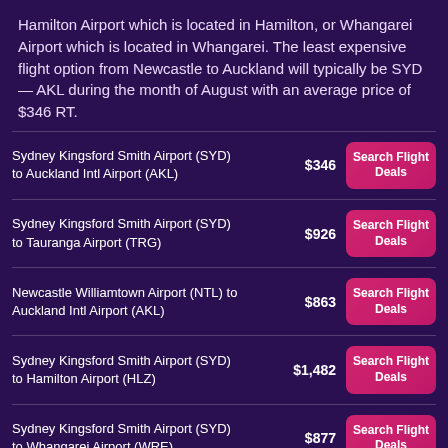Hamilton Airport which is located in Hamilton, or Whangarei Airport which is located in Whangarei. The least expensive flight option from Newcastle to Auckland will typically be SYD — AKL during the month of August with an average price of $346 RT.
| Route | Price | Action |
| --- | --- | --- |
| Sydney Kingsford Smith Airport (SYD) to Auckland Intl Airport (AKL) | $346 | Search Flight Deals |
| Sydney Kingsford Smith Airport (SYD) to Tauranga Airport (TRG) | $926 | Search Flight Deals |
| Newcastle Williamtown Airport (NTL) to Auckland Intl Airport (AKL) | $863 | Search Flight Deals |
| Sydney Kingsford Smith Airport (SYD) to Hamilton Airport (HLZ) | $1,482 | Search Flight Deals |
| Sydney Kingsford Smith Airport (SYD) to Whangarei Airport (WRE) | $877 | Search Flight Deals |